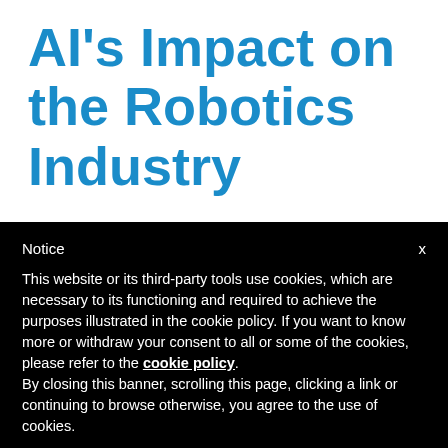AI's Impact on the Robotics Industry
Notice
This website or its third-party tools use cookies, which are necessary to its functioning and required to achieve the purposes illustrated in the cookie policy. If you want to know more or withdraw your consent to all or some of the cookies, please refer to the cookie policy.
By closing this banner, scrolling this page, clicking a link or continuing to browse otherwise, you agree to the use of cookies.